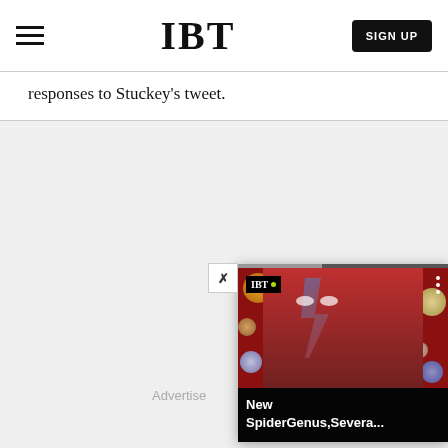IBT
responses to Stuckey's tweet.
[Figure (screenshot): IBT video widget overlay showing a colorful artistic portrait (David Bowie-style face paint) with planet/sphere decorations on a red background. Widget shows IBT logo badge, three-dot menu, close button (X), progress bar, and caption text: 'New SpiderGenus,Severa...']
Advertise